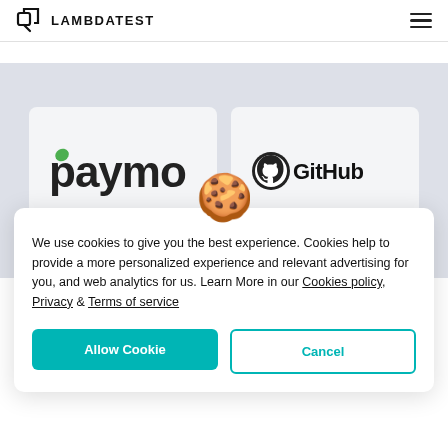LAMBDATEST
[Figure (logo): Paymo logo — stylized text 'paymo' in dark gray with a green leaf/checkmark on the 'p']
[Figure (logo): GitHub logo — octocat circle icon followed by 'GitHub' text in bold black]
We use cookies to give you the best experience. Cookies help to provide a more personalized experience and relevant advertising for you, and web analytics for us. Learn More in our Cookies policy, Privacy & Terms of service
Allow Cookie
Cancel